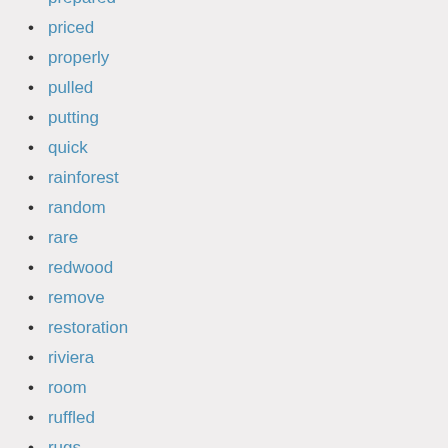prepared
priced
properly
pulled
putting
quick
rainforest
random
rare
redwood
remove
restoration
riviera
room
ruffled
rugs
rustic